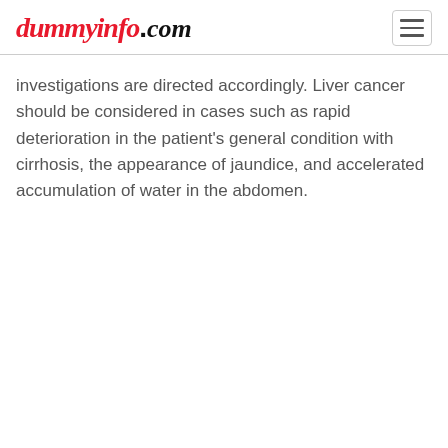dummyinfo.com
investigations are directed accordingly. Liver cancer should be considered in cases such as rapid deterioration in the patient's general condition with cirrhosis, the appearance of jaundice, and accelerated accumulation of water in the abdomen.